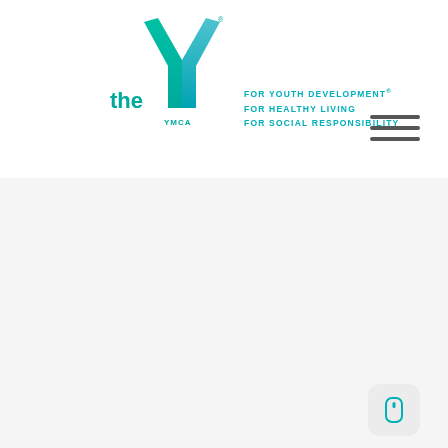[Figure (logo): YMCA logo: stylized Y shape in teal and blue gradient with 'the' text in teal to the left and 'YMCA' text. Taglines to the right: FOR YOUTH DEVELOPMENT, FOR HEALTHY LIVING, FOR SOCIAL RESPONSIBILITY in teal capital letters.]
[Figure (other): Hamburger menu icon: three horizontal dark grey lines stacked vertically, positioned in the upper right area of the header.]
[Figure (other): Scroll indicator button: rounded square light grey button in the bottom right corner containing a mouse/scroll icon outline in teal.]